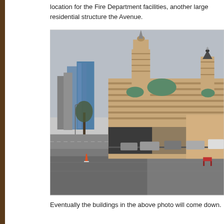location for the Fire Department facilities, another large residential structure the Avenue.
[Figure (photo): Photograph of a large ornate building with multiple towers and green domes, resembling a Moorish or Byzantine Revival style structure. Modern glass skyscrapers are visible in the background to the left. The foreground shows a large empty parking lot. The sky is overcast. A traffic cone and a red bench are visible in the parking area.]
Eventually the buildings in the above photo will come down.